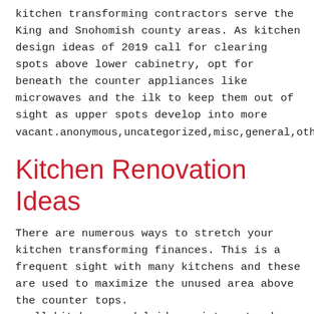kitchen transforming contractors serve the King and Snohomish county areas. As kitchen design ideas of 2019 call for clearing spots above lower cabinetry, opt for beneath the counter appliances like microwaves and the ilk to keep them out of sight as upper spots develop into more
vacant.anonymous,uncategorized,misc,general,other
Kitchen Renovation Ideas
There are numerous ways to stretch your kitchen transforming finances. This is a frequent sight with many kitchens and these are used to maximize the unused area above the counter tops.
small kitchen remodel ideas pinterest, cheap kitchen remodel ideas before and after, small kitchen remodel ideas on a budget, diy kitchen remodel ideas on a